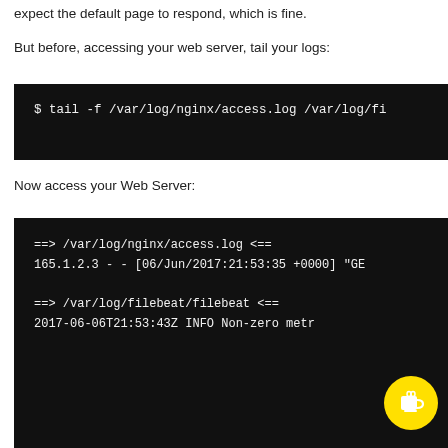expect the default page to respond, which is fine.
But before, accessing your web server, tail your logs:
[Figure (screenshot): Terminal code block showing: $ tail -f /var/log/nginx/access.log /var/log/fi]
Now access your Web Server:
[Figure (screenshot): Terminal output showing nginx access log and filebeat log entries: ==> /var/log/nginx/access.log <==
165.1.2.3 - - [06/Jun/2017:21:53:35 +0000] "GET

==> /var/log/filebeat/filebeat <==
2017-06-06T21:53:43Z INFO Non-zero metr]